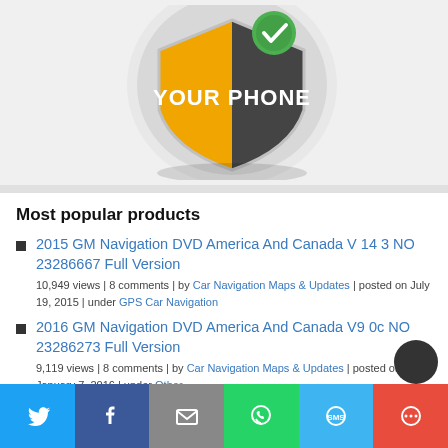[Figure (illustration): Antivirus/security shield graphic with yellow and dark sections, green checkmark badge, and 'YOUR PHONE' text in white]
Most popular products
2015 GM Navigation DVD America And Canada V 14 3 NO 23286667 Full Version
10,949 views | 8 comments | by Car Navigation Maps & Updates | posted on July 19, 2015 | under GPS Car Navigation
2016 GM Navigation DVD America And Canada V9 0c NO 23286273 Full Version
9,119 views | 8 comments | by Car Navigation Maps & Updates | posted on January 7, 2016 | under Other
[Figure (infographic): Social share bar with Twitter, Facebook, Email, WhatsApp, SMS, and More buttons]